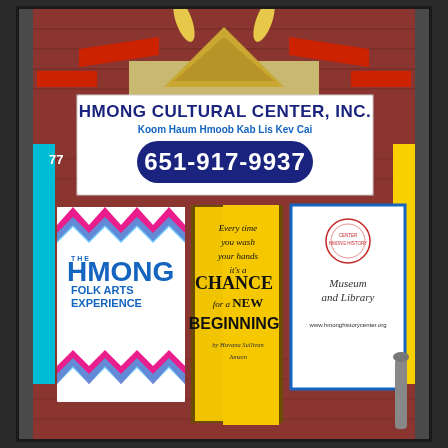[Figure (photo): Photograph of the front facade of the Hmong Cultural Center, Inc. building. A red brick building with decorative golden horn/flame ornaments and a triangular roof element at the top. A large white sign reads 'HMONG CULTURAL CENTER, INC.' with subtitle 'Koom Haum Hmoob Kab Lis Kev Cai' and phone number '651-917-9937' in a dark blue oval. Below are three banners: left banner for 'THE HMONG FOLK ARTS EXPERIENCE' with colorful chevron patterns; center door with a yellow sign reading 'Every time you wash your hands its a CHANCE for a NEW BEGINNING by Havana Sullivan Janzen'; right banner for 'Museum and Library' with a red circular seal and website www.hmonghistorycenter.org. Cyan and yellow vertical strips on the sides.]